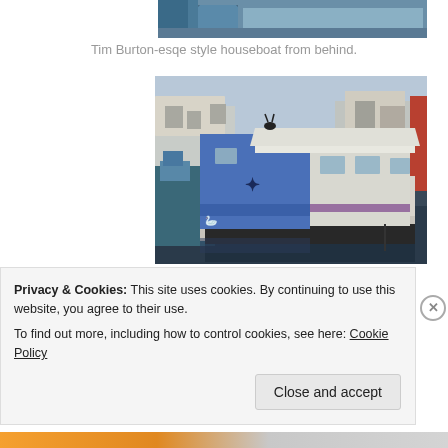[Figure (photo): Top portion of a photo partially visible at top of page, showing what appears to be a houseboat or structure with a blue sky background, cropped]
Tim Burton-esqe style houseboat from behind.
[Figure (photo): A blue and white houseboat moored at a marina, viewed from behind/side. The houseboat has a distinctive style with blue painted walls and decorative elements. Other houseboats and structures are visible in the background. The boat is reflected in dark water.]
Privacy & Cookies: This site uses cookies. By continuing to use this website, you agree to their use.
To find out more, including how to control cookies, see here: Cookie Policy
Close and accept